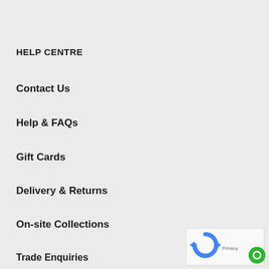HELP CENTRE
Contact Us
Help & FAQs
Gift Cards
Delivery & Returns
On-site Collections
Trade Enquiries
CONTENT & GUIDES
News & Blogs
Installation Guides
[Figure (logo): reCAPTCHA privacy badge with blue arrows logo and green circle icon]